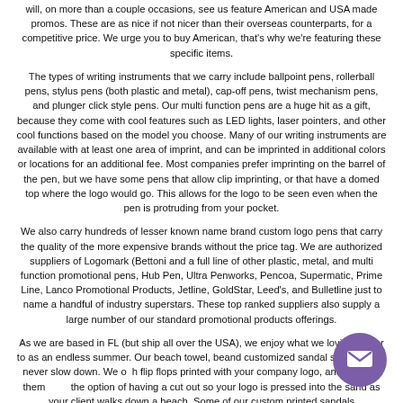will, on more than a couple occasions, see us feature American and USA made promos. These are as nice if not nicer than their overseas counterparts, for a competitive price. We urge you to buy American, that's why we're featuring these specific items.
The types of writing instruments that we carry include ballpoint pens, rollerball pens, stylus pens (both plastic and metal), cap-off pens, twist mechanism pens, and plunger click style pens. Our multi function pens are a huge hit as a gift, because they come with cool features such as LED lights, laser pointers, and other cool functions based on the model you choose. Many of our writing instruments are available with at least one area of imprint, and can be imprinted in additional colors or locations for an additional fee. Most companies prefer imprinting on the barrel of the pen, but we have some pens that allow clip imprinting, or that have a domed top where the logo would go. This allows for the logo to be seen even when the pen is protruding from your pocket.
We also carry hundreds of lesser known name brand custom logo pens that carry the quality of the more expensive brands without the price tag. We are authorized suppliers of Logomark (Bettoni and a full line of other plastic, metal, and multi function promotional pens, Hub Pen, Ultra Penworks, Pencoa, Supermatic, Prime Line, Lanco Promotional Products, Jetline, GoldStar, Leed's, and Bulletline just to name a handful of industry superstars. These top ranked suppliers also supply a large number of our standard promotional products offerings.
As we are based in FL (but ship all over the USA), we enjoy what we lovingly refer to as an endless summer. Our beach towel, be... and customized sandal sales almost never slow down. We o... h flip flops printed with your company logo, and some of them ... the option of having a cut out so your logo is pressed into the sand as your client walks down a beach. Some of our custom printed sandals...